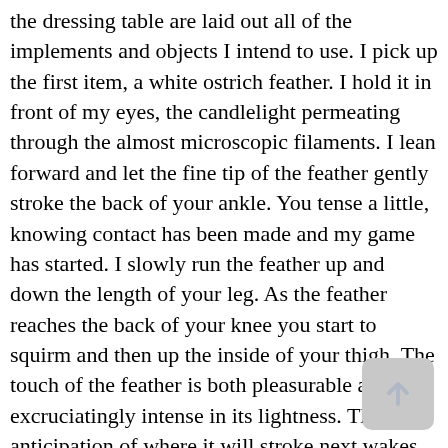the dressing table are laid out all of the implements and objects I intend to use. I pick up the first item, a white ostrich feather. I hold it in front of my eyes, the candlelight permeating through the almost microscopic filaments. I lean forward and let the fine tip of the feather gently stroke the back of your ankle. You tense a little, knowing contact has been made and my game has started. I slowly run the feather up and down the length of your leg. As the feather reaches the back of your knee you start to squirm and then up the inside of your thigh. The touch of the feather is both pleasurable and excruciatingly intense in its lightness. The anticipation of where it will stroke next wakes up every nerve-ending in your body. All you can hear is your own breath, gasping each time the feather touches. I occasionally break contact, changing where the feather touches next, keeping you guessing; increasing your anticipation. You wriggle a little as I run the feather along the bottom of